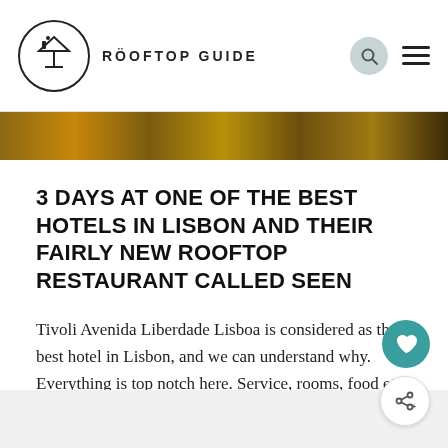ROOFTOP GUIDE
[Figure (photo): A narrow horizontal photo strip showing warm amber/brown tones suggesting a rooftop bar or restaurant setting]
3 DAYS AT ONE OF THE BEST HOTELS IN LISBON AND THEIR FAIRLY NEW ROOFTOP RESTAURANT CALLED SEEN
Tivoli Avenida Liberdade Lisboa is considered as the best hotel in Lisbon, and we can understand why. Everything is top notch here. Service, rooms, food etc.